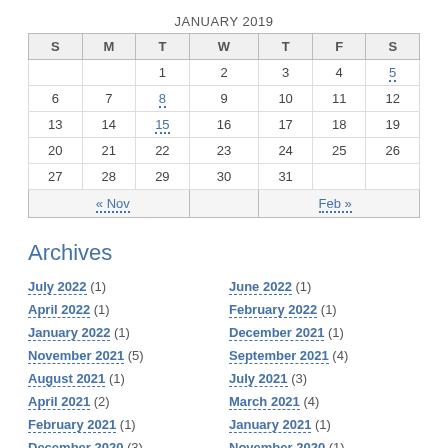| S | M | T | W | T | F | S |
| --- | --- | --- | --- | --- | --- | --- |
|  |  | 1 | 2 | 3 | 4 | 5 |
| 6 | 7 | 8 | 9 | 10 | 11 | 12 |
| 13 | 14 | 15 | 16 | 17 | 18 | 19 |
| 20 | 21 | 22 | 23 | 24 | 25 | 26 |
| 27 | 28 | 29 | 30 | 31 |  |  |
Archives
July 2022 (1)
June 2022 (1)
April 2022 (1)
February 2022 (1)
January 2022 (1)
December 2021 (1)
November 2021 (5)
September 2021 (4)
August 2021 (1)
July 2021 (3)
April 2021 (2)
March 2021 (4)
February 2021 (1)
January 2021 (1)
December 2020 (3)
November 2020 (1)
October 2020 (7)
June 2020 (2)